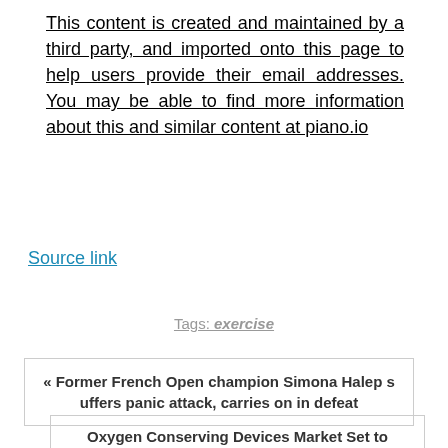This content is created and maintained by a third party, and imported onto this page to help users provide their email addresses. You may be able to find more information about this and similar content at piano.io
Source link
Tags: exercise
« Former French Open champion Simona Halep suffers panic attack, carries on in defeat
Oxygen Conserving Devices Market Set to Record Exponential Growth by 2027 »